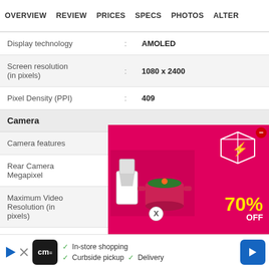OVERVIEW  REVIEW  PRICES  SPECS  PHOTOS  ALTER
| Display technology | : | AMOLED |
| Screen resolution (in pixels) | : | 1080 x 2400 |
| Pixel Density (PPI) | : | 409 |
Camera
| Camera features | : | Quad |
| Rear Camera Megapixel | : | 48 + 8 + 2 |
| Maximum Video Resolution (in pixels) | : | 1080p@30fps |
| Front Camera Megapixel | : | 16 |
| LED Flash | : |  |
[Figure (photo): Advertisement overlay showing a 70% OFF sale on kitchen appliances, displayed over the spec page]
[Figure (infographic): Bottom advertisement bar for CM (Curbside Pickup) with In-store shopping, Curbside pickup, and Delivery options]